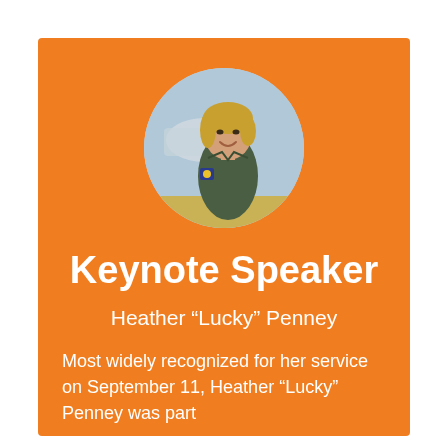[Figure (photo): Circular cropped photo of Heather 'Lucky' Penney, a woman with blonde hair wearing a dark olive military flight suit with patches, smiling in front of what appears to be an aircraft in a hangar.]
Keynote Speaker
Heather “Lucky” Penney
Most widely recognized for her service on September 11, Heather “Lucky” Penney was part